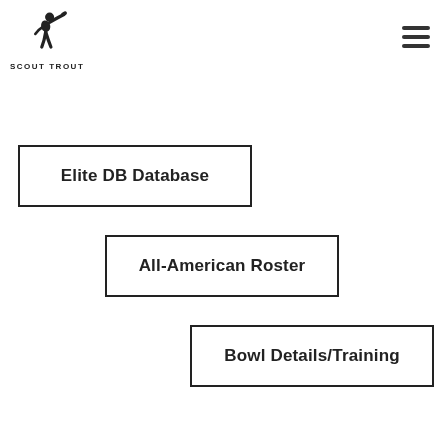[Figure (logo): Scout Trout logo: silhouette of a football player throwing, with text 'SCOUT TROUT' below]
Elite DB Database
All-American Roster
Bowl Details/Training